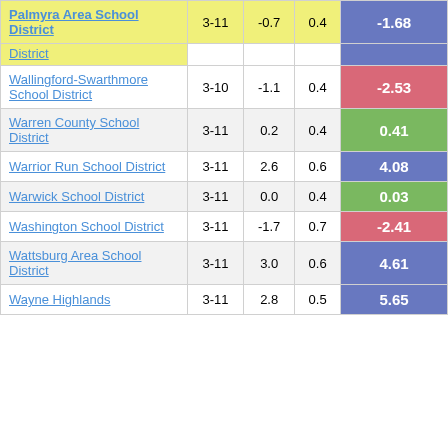| District | Grades | Col3 | Col4 | Score |
| --- | --- | --- | --- | --- |
| Palmyra Area School District | 3-11 | -0.7 | 0.4 | -1.68 |
| District |  |  |  |  |
| Wallingford-Swarthmore School District | 3-10 | -1.1 | 0.4 | -2.53 |
| Warren County School District | 3-11 | 0.2 | 0.4 | 0.41 |
| Warrior Run School District | 3-11 | 2.6 | 0.6 | 4.08 |
| Warwick School District | 3-11 | 0.0 | 0.4 | 0.03 |
| Washington School District | 3-11 | -1.7 | 0.7 | -2.41 |
| Wattsburg Area School District | 3-11 | 3.0 | 0.6 | 4.61 |
| Wayne Highlands | 3-11 | 2.8 | 0.5 | 5.65 |